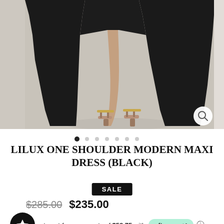[Figure (photo): Lower half of a model wearing a black one-shoulder maxi dress with a side slit, paired with nude strappy heeled sandals, photographed against a light beige background. Partial side panels visible on left and right edges.]
LILUX ONE SHOULDER MODERN MAXI DRESS (BLACK)
SALE
$285.00  $235.00
4 interest-free payments of $58.75 with afterpay